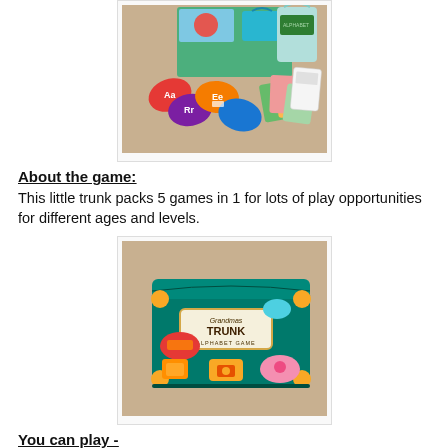[Figure (photo): Photo of Grandma's Trunk Alphabet Game contents spread out — colorful letter cards, game pieces, and a decorated box on a tan carpet background.]
About the game:
This little trunk packs 5 games in 1 for lots of play opportunities for different ages and levels.
[Figure (photo): Photo of the Grandma's Trunk Alphabet Game box — a green trunk-shaped tin with colorful decorations and the game title on the front, sitting on a tan carpet.]
You can play -